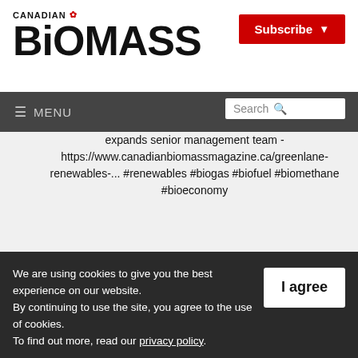CANADIAN BIOMASS
Subscribe
≡ MENU   Search
expands senior management team - https://www.canadianbiomassmagazine.ca/greenlane-renewables-... #renewables #biogas #biofuel #biomethane #bioeconomy
Twitter
We are using cookies to give you the best experience on our website. By continuing to use the site, you agree to the use of cookies. To find out more, read our privacy policy.
I agree